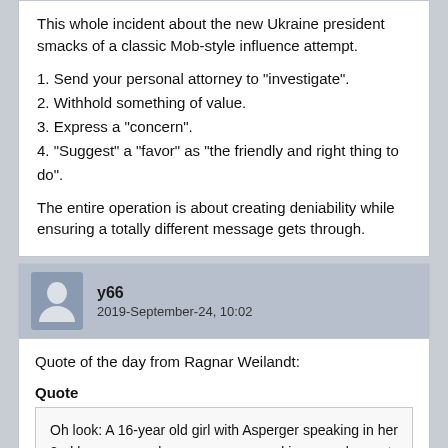This whole incident about the new Ukraine president smacks of a classic Mob-style influence attempt.
1. Send your personal attorney to "investigate".
2. Withhold something of value.
3. Express a "concern".
4. "Suggest" a "favor" as "the friendly and right thing to do".
The entire operation is about creating deniability while ensuring a totally different message gets through.
y66
2019-September-24, 10:02
Quote of the day from Ragnar Weilandt:
Quote
Oh look: A 16-year old girl with Asperger speaking in her 2nd language makes more sense and is more eloquent than the President of the United States, who, in turn, reacts like a spoiled 10-year-old.